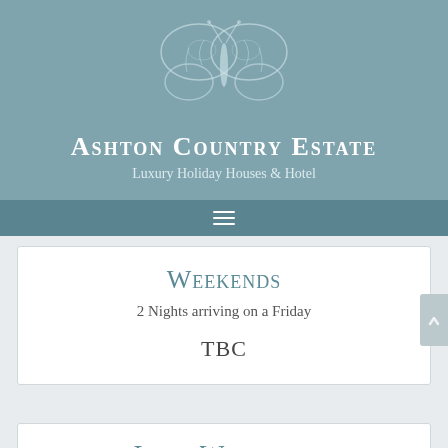[Figure (logo): Ashton Country Estate logo with butterfly illustration above text]
Ashton Country Estate
Luxury Holiday Houses & Hotel
Weekends
2 Nights arriving on a Friday
TBC
Long Weekends